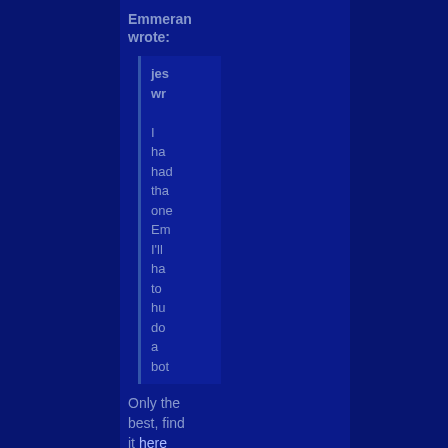Emmeran wrote:
jes wr

I ha had tha one Em I'll ha to hu do a bot
Only the best, find it here